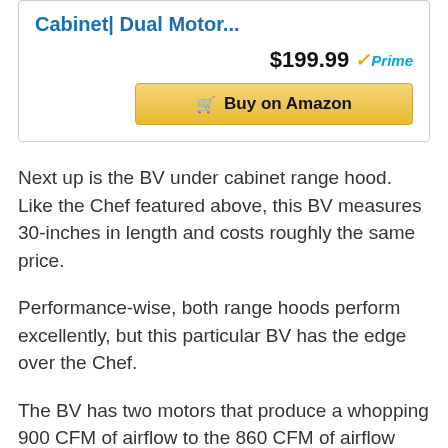Cabinet| Dual Motor...
$199.99 ✓Prime
[Figure (other): Buy on Amazon button with shopping cart icon]
Next up is the BV under cabinet range hood. Like the Chef featured above, this BV measures 30-inches in length and costs roughly the same price.
Performance-wise, both range hoods perform excellently, but this particular BV has the edge over the Chef.
The BV has two motors that produce a whopping 900 CFM of airflow to the 860 CFM of airflow generated by the Chef.